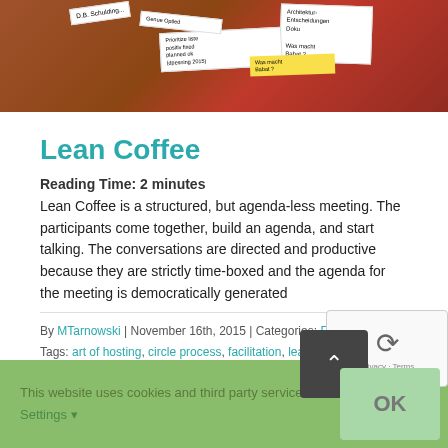[Figure (photo): Photo of sticky notes and handwritten cards on a wooden/red surface, with text in German and English about architecture decisions, documentation, and meeting topics]
Lean Coffee
Reading Time: 2 minutes
Lean Coffee is a structured, but agenda-less meeting. The participants come together, build an agenda, and start talking. The conversations are directed and productive because they are strictly time-boxed and the agenda for the meeting is democratically generated
By MTarnowski | November 16th, 2015 | Categories: Facilitation | Tags: art of hosting, circle process, facilitation, lean change management, time management, world cafe | 0 Comments
Read More
This website uses cookies and third party services
Settings